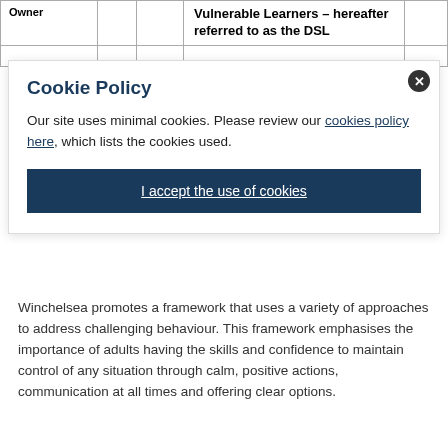| Owner |  |  | Vulnerable Learners – hereafter referred to as the DSL |  |
| --- | --- | --- | --- | --- |
|  |  |  |  |  |
Cookie Policy
Our site uses minimal cookies. Please review our cookies policy here, which lists the cookies used.
I accept the use of cookies
Winchelsea promotes a framework that uses a variety of approaches to address challenging behaviour. This framework emphasises the importance of adults having the skills and confidence to maintain control of any situation through calm, positive actions, communication at all times and offering clear options.